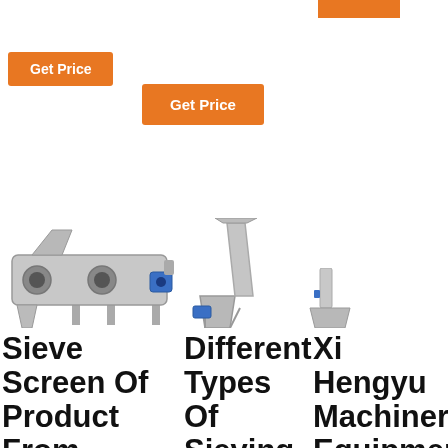[Figure (screenshot): Orange 'Get Price' button top left]
[Figure (screenshot): Orange 'Get Price' button center]
[Figure (screenshot): Orange rectangle top right]
[Figure (photo): Industrial sieve screen machine, stainless steel, with motor]
[Figure (photo): Inclined screw conveyor / sieving machine for battery]
[Figure (infographic): 24/7 Online chat box with woman wearing headset, 'Click here for free chat!' and QUOTATION button]
[Figure (photo): Small vertical conveyor machine on right side]
Sieve Screen Of Product From Pipe.China.C
Different Types Of Sieving Machines For Battery
Xi Hengyu Machinery Equipment Co., Ltd. -